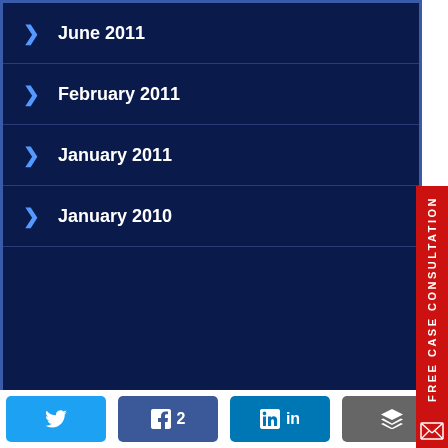June 2011
February 2011
January 2011
January 2010
CATEGORIES
Age of Consent
Aggravated Robbery
Alcohol Concentration